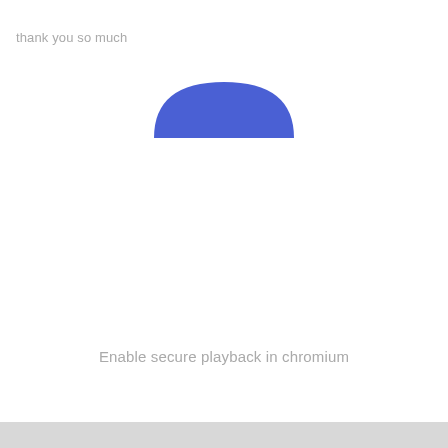thank you so much
[Figure (illustration): A blue semicircle / dome shape, representing a user avatar or profile icon silhouette, centered horizontally in the upper-middle area of the page.]
Enable secure playback in chromium
[Figure (other): A light gray horizontal bar at the very bottom of the page.]